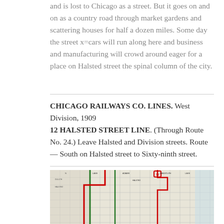and is lost to Chicago as a street. But it goes on and on as a country road through market gardens and scattering houses for half a dozen miles. Some day the street x=cars will run along here and business and manufacturing will crowd around eager for a place on Halsted street the spinal column of the city.
CHICAGO RAILWAYS CO. LINES. West Division, 1909
12 HALSTED STREET LINE. (Through Route No. 24.) Leave Halsted and Division streets. Route— South on Halsted street to Sixty-ninth street.
[Figure (map): A historical street map of Chicago showing the Halsted Street Line route marked in red, with green lines indicating other routes, depicting the West Division area circa 1909.]